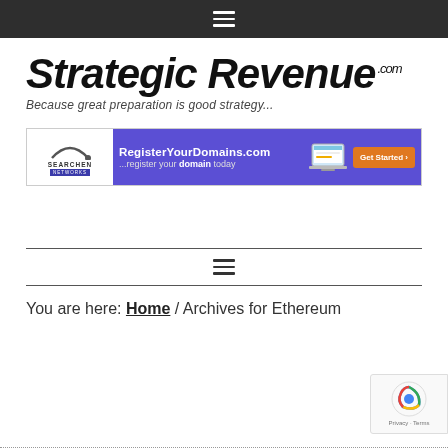Navigation bar with hamburger menu icon
[Figure (logo): Strategic Revenue .com logo with tagline 'Because great preparation is good strategy...']
[Figure (infographic): Searchen Networks banner ad for RegisterYourDomains.com with 'Get Started' button]
[Figure (other): Hamburger menu icon between two horizontal divider lines]
You are here: Home / Archives for Ethereum